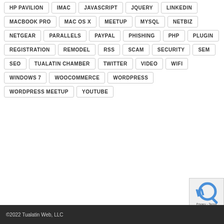HP PAVILION, IMAC, JAVASCRIPT, JQUERY, LINKEDIN, MACBOOK PRO, MAC OS X, MEETUP, MYSQL, NETBIZ, NETGEAR, PARALLELS, PAYPAL, PHISHING, PHP, PLUGIN, REGISTRATION, REMODEL, RSS, SCAM, SECURITY, SEM, SEO, TUALATIN CHAMBER, TWITTER, VIDEO, WIFI, WINDOWS 7, WOOCOMMERCE, WORDPRESS, WORDPRESS MEETUP, YOUTUBE
©2022 Tualatin Web, LLC